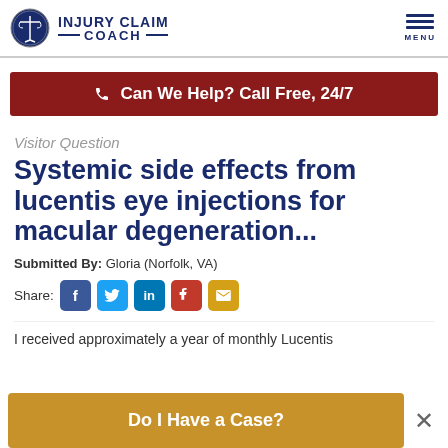INJURY CLAIM COACH
Can We Help? Call Free, 24/7
Visitor Question
Systemic side effects from lucentis eye injections for macular degeneration...
Submitted By:  Gloria (Norfolk, VA)
Share:
I received approximately a year of monthly Lucentis
Do I Have a Case?